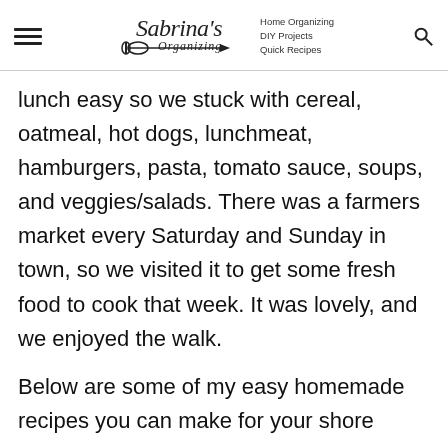Sabrina's Organizing — Home Organizing, DIY Projects, Quick Recipes
lunch easy so we stuck with cereal, oatmeal, hot dogs, lunchmeat, hamburgers, pasta, tomato sauce, soups, and veggies/salads. There was a farmers market every Saturday and Sunday in town, so we visited it to get some fresh food to cook that week. It was lovely, and we enjoyed the walk.
Below are some of my easy homemade recipes you can make for your shore